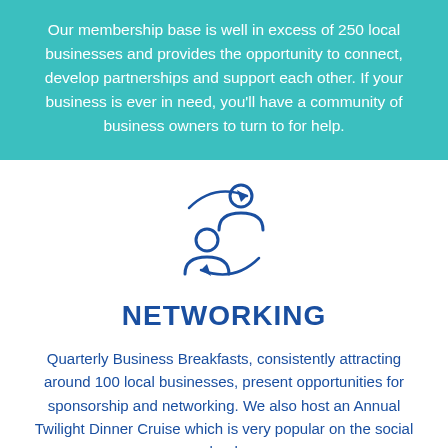Our membership base is well in excess of 250 local businesses and provides the opportunity to connect, develop partnerships and support each other. If your business is ever in need, you'll have a community of business owners to turn to for help.
[Figure (illustration): Two person/user icons arranged in a circular exchange/networking pattern with arrows, drawn in dark blue outline style]
NETWORKING
Quarterly Business Breakfasts, consistently attracting around 100 local businesses, present opportunities for sponsorship and networking. We also host an Annual Twilight Dinner Cruise which is very popular on the social calendar.